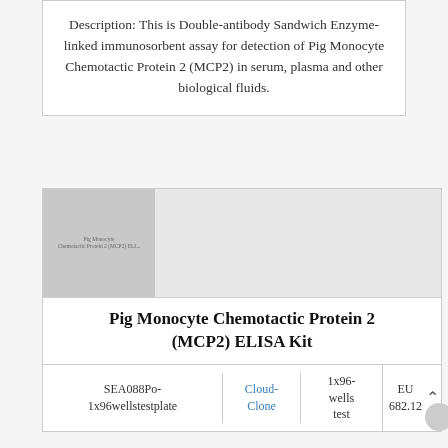Description: This is Double-antibody Sandwich Enzyme-linked immunosorbent assay for detection of Pig Monocyte Chemotactic Protein 2 (MCP2) in serum, plasma and other biological fluids.
[Figure (photo): Product image placeholder for Pig Monocyte Chemotactic Protein 2 (MCP2) ELISA Kit]
Pig Monocyte Chemotactic Protein 2 (MCP2) ELISA Kit
| SKU | Vendor | Quantity | Price |
| --- | --- | --- | --- |
| SEA088Po-1x96wellstestplate | Cloud-Clone | 1x96-wells test | EU 682.12 |